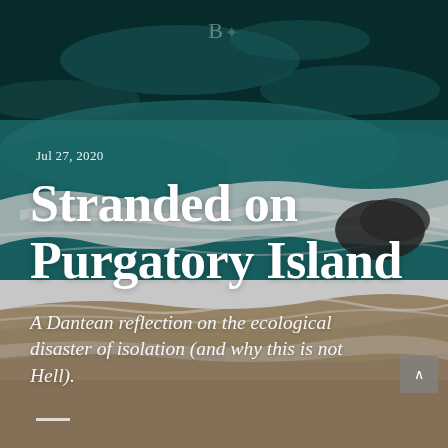[Figure (photo): Aerial view of ocean waves meeting a sandy beach, with teal/turquoise water and white foam, shot from directly above]
BG
Jul 27, 2020
Stranded on Purgatory Island
A Dantean reflection on the ecological disaster of isolation (and why this is not Hell).